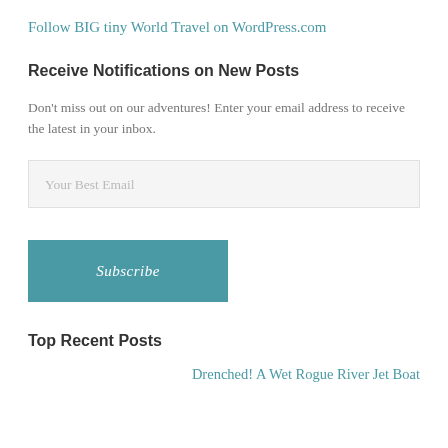Follow BIG tiny World Travel on WordPress.com
Receive Notifications on New Posts
Don't miss out on our adventures! Enter your email address to receive the latest in your inbox.
Your Best Email
Subscribe
Top Recent Posts
Drenched! A Wet Rogue River Jet Boat